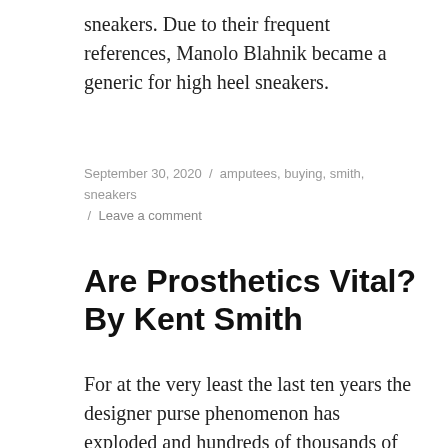sneakers. Due to their frequent references, Manolo Blahnik became a generic for high heel sneakers.
September 30, 2020 / amputees, buying, smith, sneakers / Leave a comment
Are Prosthetics Vital? By Kent Smith
For at the very least the last ten years the designer purse phenomenon has exploded and hundreds of thousands of individuals can't live without one. One dimension would not match